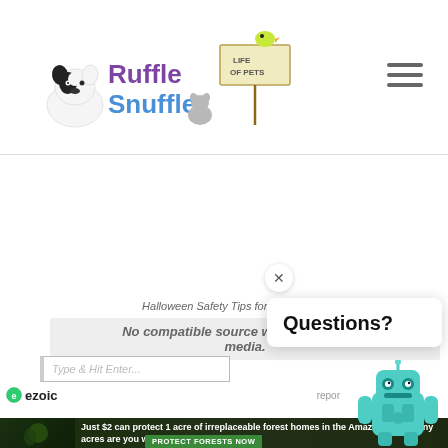[Figure (logo): Ruffle Snuffle Life of Pets logo with cartoon dog, cat, and bird]
[Figure (illustration): Hamburger menu icon (three horizontal lines)]
No compatible source was found for this media.
Halloween Safety Tips for Pet Owners
Type & Hit Enter...
[Figure (logo): Ezoic logo with green circular icon]
report
Questions?
[Figure (illustration): Teal robot mascot illustration]
Just $2 can protect 1 acre of irreplaceable forest homes in the Amazon. How many acres are you willing to protect?
PROTECT FORESTS NOW